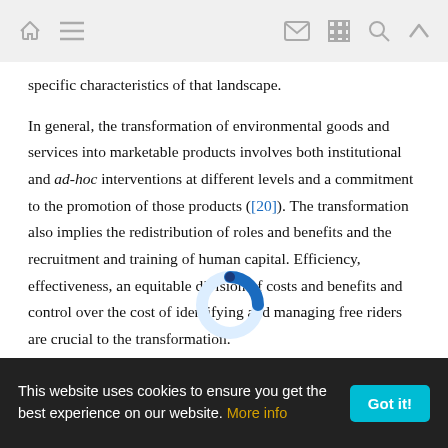[navigation bar with home, menu, mail, grid, search, and up icons]
specific characteristics of that landscape.
In general, the transformation of environmental goods and services into marketable products involves both institutional and ad-hoc interventions at different levels and a commitment to the promotion of those products ([20]). The transformation also implies the redistribution of roles and benefits and the recruitment and training of human capital. Efficiency, effectiveness, an equitable division of costs and benefits and control over the cost of identifying and managing free riders are crucial to the transformation.
So, Wunder's key attributes ([35]) need to be combined with other requirements, such as efficiency, effectiveness and
This website uses cookies to ensure you get the best experience on our website. More info   Got it!